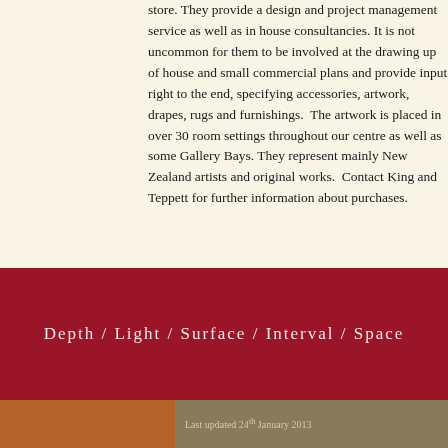store. They provide a design and project management service as well as in house consultancies. It is not uncommon for them to be involved at the drawing up of house and small commercial plans and provide input right to the end, specifying accessories, artwork, drapes, rugs and furnishings.  The artwork is placed in over 30 room settings throughout our centre as well as some Gallery Bays. They represent mainly New Zealand artists and original works.  Contact King and Teppett for further information about purchases.
Depth / Light / Surface / Interval / Space
Last updated 24th January 2013